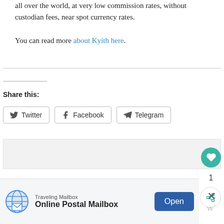all over the world, at very low commission rates, without custodian fees, near spot currency rates.
You can read more about Kyith here.
Share this:
[Figure (screenshot): Social share buttons for Twitter, Facebook, and Telegram]
[Figure (screenshot): Comment/reactions area with like button (heart icon, teal), count of 1, and share button. Ad banner at bottom for Traveling Mailbox - Online Postal Mailbox with Open button.]